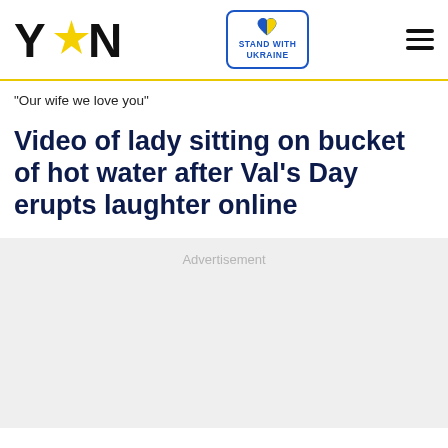YEN — Stand With Ukraine
"Our wife we love you"
Video of lady sitting on bucket of hot water after Val's Day erupts laughter online
Advertisement